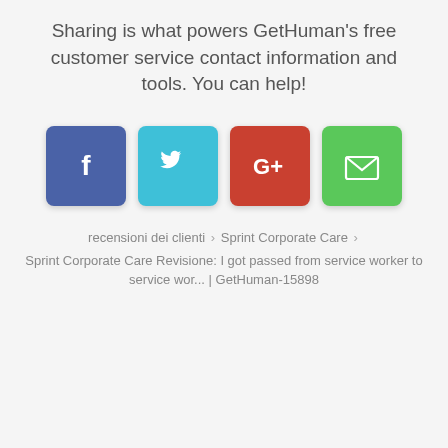Sharing is what powers GetHuman's free customer service contact information and tools. You can help!
[Figure (infographic): Four social sharing buttons: Facebook (blue), Twitter (cyan), Google+ (red), Email (green)]
recensioni dei clienti › Sprint Corporate Care ›
Sprint Corporate Care Revisione: I got passed from service worker to service wor... | GetHuman-15898